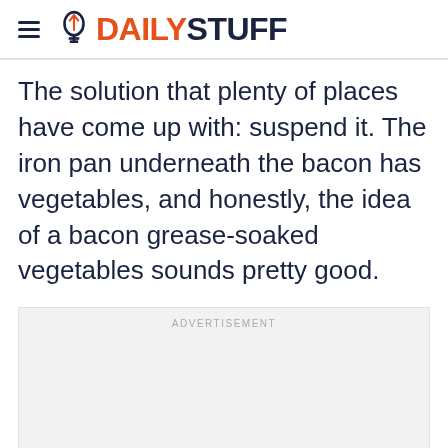DAILYSTUFF
The solution that plenty of places have come up with: suspend it. The iron pan underneath the bacon has vegetables, and honestly, the idea of a bacon grease-soaked vegetables sounds pretty good.
[Figure (other): Advertisement placeholder box with gray background and ADVERTISEMENT label]